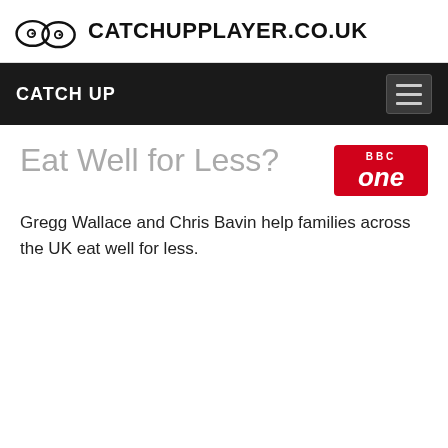CATCHUPPLAYER.CO.UK
CATCH UP
Eat Well for Less?
[Figure (logo): BBC One red badge logo]
Gregg Wallace and Chris Bavin help families across the UK eat well for less.